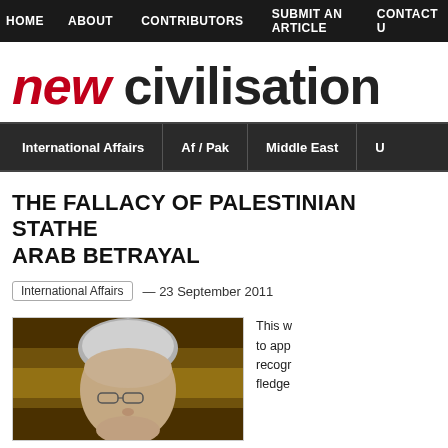HOME   ABOUT   CONTRIBUTORS   SUBMIT AN ARTICLE   CONTACT US
new civilisation
International Affairs   Af / Pak   Middle East   U
THE FALLACY OF PALESTINIAN STATEHOOD: ARAB BETRAYAL
International Affairs — 23 September 2011
[Figure (photo): Close-up photograph of an elderly man with grey/white hair and glasses, against an ornate background]
This w... to app... recogr... fledge...